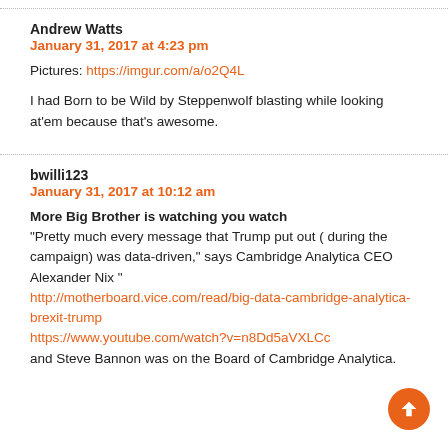Andrew Watts
January 31, 2017 at 4:23 pm

Pictures: https://imgur.com/a/o2Q4L

I had Born to be Wild by Steppenwolf blasting while looking at'em because that's awesome.
bwilli123
January 31, 2017 at 10:12 am

More Big Brother is watching you watch
"Pretty much every message that Trump put out ( during the campaign) was data-driven," says Cambridge Analytica CEO Alexander Nix "
http://motherboard.vice.com/read/big-data-cambridge-analytica-brexit-trump
https://www.youtube.com/watch?v=n8Dd5aVXLCc
and Steve Bannon was on the Board of Cambridge Analytica.